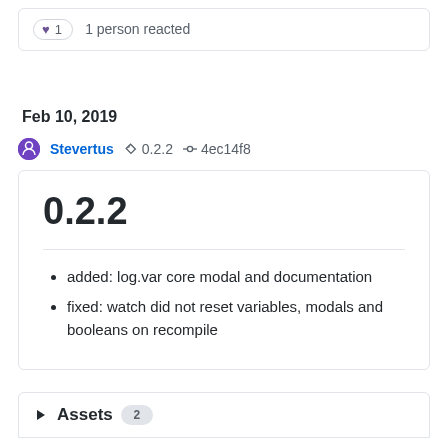♥ 1   1 person reacted
Feb 10, 2019
Stevertus   0.2.2   4ec14f8
0.2.2
added: log.var core modal and documentation
fixed: watch did not reset variables, modals and booleans on recompile
▶ Assets 2